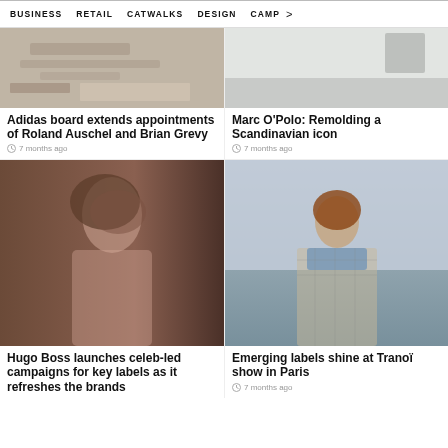BUSINESS   RETAIL   CATWALKS   DESIGN   CAMP  >
[Figure (photo): Top-down view of a desk with papers and design documents - Adidas board article image]
Adidas board extends appointments of Roland Auschel and Brian Grevy
7 months ago
[Figure (photo): Clean minimalist interior - Marc O'Polo article image]
Marc O'Polo: Remolding a Scandinavian icon
7 months ago
[Figure (photo): Female model wearing Hugo Boss clothing - campaign photo]
Hugo Boss launches celeb-led campaigns for key labels as it refreshes the brands
[Figure (photo): Young male model in checkered jacket with blue denim collar - Tranoï Paris show]
Emerging labels shine at Tranoï show in Paris
7 months ago